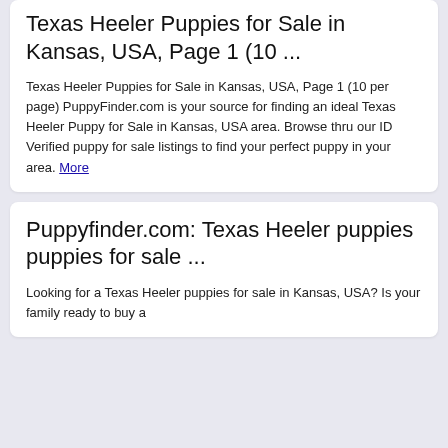Texas Heeler Puppies for Sale in Kansas, USA, Page 1 (10 ...
Texas Heeler Puppies for Sale in Kansas, USA, Page 1 (10 per page) PuppyFinder.com is your source for finding an ideal Texas Heeler Puppy for Sale in Kansas, USA area. Browse thru our ID Verified puppy for sale listings to find your perfect puppy in your area. More
Puppyfinder.com: Texas Heeler puppies puppies for sale ...
Looking for a Texas Heeler puppies for sale in Kansas, USA? Is your family ready to buy a